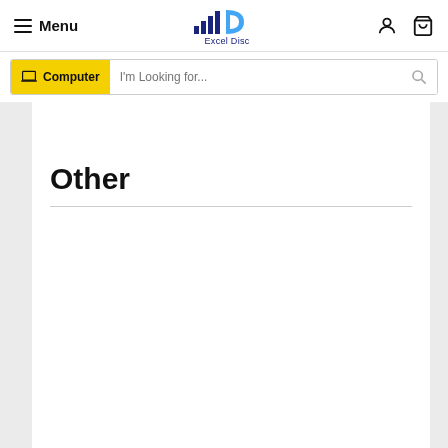Menu | Excel Disc
I'm Looking for...
Other